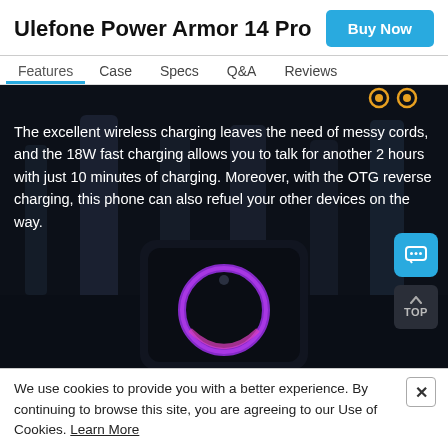Ulefone Power Armor 14 Pro
Buy Now
Features | Case | Specs | Q&A | Reviews
The excellent wireless charging leaves the need of messy cords, and the 18W fast charging allows you to talk for another 2 hours with just 10 minutes of charging. Moreover, with the OTG reverse charging, this phone can also refuel your other devices on the way.
[Figure (photo): Dark promotional image of Ulefone Power Armor 14 Pro smartphone showing the front display with purple/pink ring light effect, set against a dark industrial backdrop with vertical pillars. Background is very dark near-black.]
We use cookies to provide you with a better experience. By continuing to browse this site, you are agreeing to our Use of Cookies. Learn More